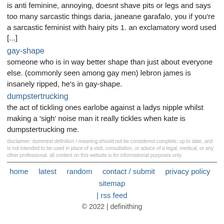is anti feminine, annoying, doesnt shave pits or legs and says too many sarcastic things daria, janeane garafalo, you if you're a sarcastic feminist with hairy pits 1. an exclamatory word used [...]
gay-shape
someone who is in way better shape than just about everyone else. (commonly seen among gay men) lebron james is insanely ripped, he's in gay-shape.
dumpstertrucking
the act of tickling ones earlobe against a ladys nipple whilst making a 'sigh' noise man it really tickles when kate is dumpstertrucking me.
disclaimer: dummest definition / meaning should not be considered complete, up to date, and is not intended to be used in place of a visit, consultation, or advice of a legal, medical, or any other professional. all content on this website is for informational purposes only.
home   latest   random   contact / submit   privacy policy   sitemap   | rss feed   © 2022 | definithing